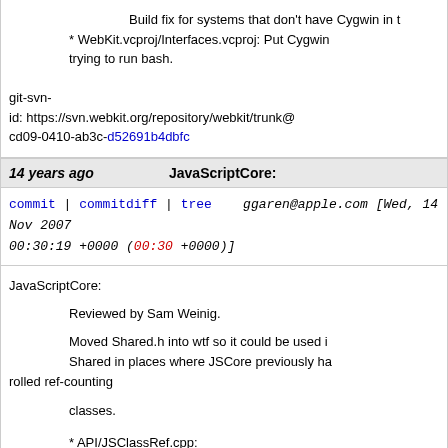Build fix for systems that don't have Cygwin in t...
* WebKit.vcproj/Interfaces.vcproj: Put Cygwin... trying to run bash.
git-svn-id: https://svn.webkit.org/repository/webkit/trunk@... cd09-0410-ab3c-d52691b4dbfc
14 years ago   JavaScriptCore:
commit | commitdiff | tree   ggaren@apple.com [Wed, 14 Nov 2007 00:30:19 +0000 (00:30 +0000)]
JavaScriptCore:

Reviewed by Sam Weinig.

Moved Shared.h into wtf so it could be used i... Shared in places where JSCore previously ha... rolled ref-counting classes.

* API/JSClassRef.cpp:
(OpaqueJSClass::OpaqueJSClass):
* API/JSClassRef.h:
* API/JSObjectRef.cpp:
(JSClassRetain):